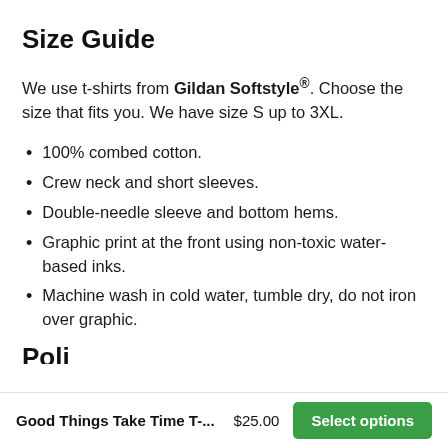Size Guide
We use t-shirts from Gildan Softstyle®. Choose the size that fits you. We have size S up to 3XL.
100% combed cotton.
Crew neck and short sleeves.
Double-needle sleeve and bottom hems.
Graphic print at the front using non-toxic water-based inks.
Machine wash in cold water, tumble dry, do not iron over graphic.
Poli…
Good Things Take Time T-...   $25.00   Select options